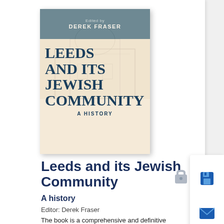[Figure (illustration): Book cover of 'Leeds and its Jewish Community: A History', edited by Derek Fraser. Dark teal header band with editor name, large serif title text over a faded architectural background image, subtitle 'A History' at bottom.]
Leeds and its Jewish Community
A history
Editor: Derek Fraser
The book is a comprehensive and definitive history of the Leeds Jewish community